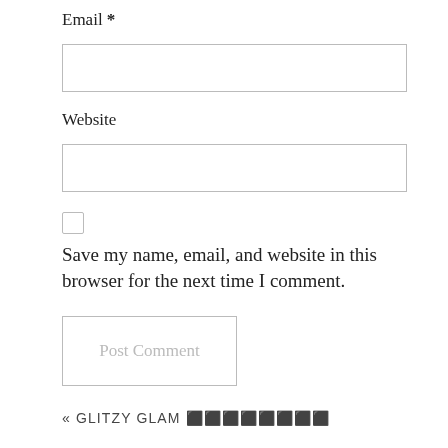Email *
[Figure (other): Empty text input field for email]
Website
[Figure (other): Empty text input field for website]
[Figure (other): Unchecked checkbox]
Save my name, email, and website in this browser for the next time I comment.
[Figure (other): Post Comment button (outlined, light gray text)]
« GLITZY GLAM 🔲🔲🔲🔲🔲🔲🔲🔲